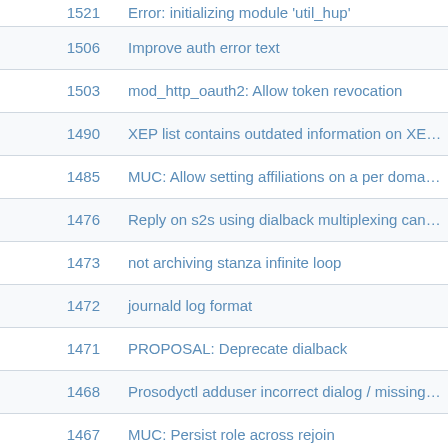| ID | Description |
| --- | --- |
| 1521 | Error: initializing module 'util_hup' |
| 1506 | Improve auth error text |
| 1503 | mod_http_oauth2: Allow token revocation |
| 1490 | XEP list contains outdated information on XEP-156 |
| 1485 | MUC: Allow setting affiliations on a per domain basis |
| 1476 | Reply on s2s using dialback multiplexing can be routed w |
| 1473 | not archiving stanza infinite loop |
| 1472 | journald log format |
| 1471 | PROPOSAL: Deprecate dialback |
| 1468 | Prosodyctl adduser incorrect dialog / missing io.flush |
| 1467 | MUC: Persist role across rejoin |
| 1464 | MUST destroy room on cancel of initial room configurati |
| 1463 | util.interpolation: Passing nil to filters |